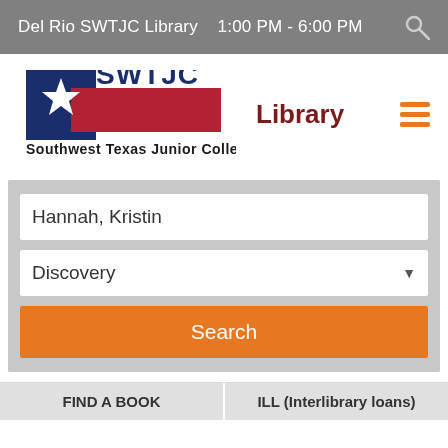Del Rio SWTJC Library   1:00 PM - 6:00 PM
[Figure (logo): SWTJC Southwest Texas Junior College logo with Texas flag star and red/blue rectangle, with text 'Library' in dark red and orange hamburger menu icon]
Hannah, Kristin
Discovery
Search
FIND A BOOK
ILL (Interlibrary loans)